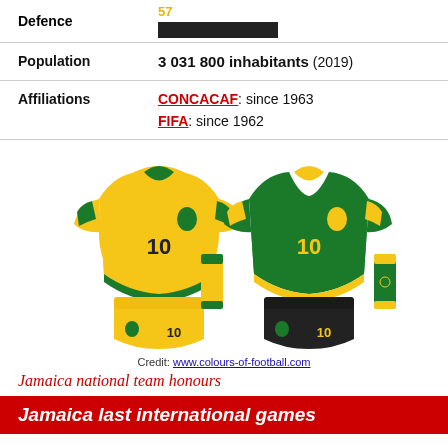| Field | Value |
| --- | --- |
| Defence | 57 [bar] |
| Population | 3 031 800 inhabitants (2019) |
| Affiliations | CONCACAF: since 1963
FIFA: since 1962 |
[Figure (illustration): Jamaica national football team home (yellow) and away (green) kits with number 10, shorts and socks shown side by side.]
Credit: www.colours-of-football.com
Jamaica national team honours
Jamaica last international games